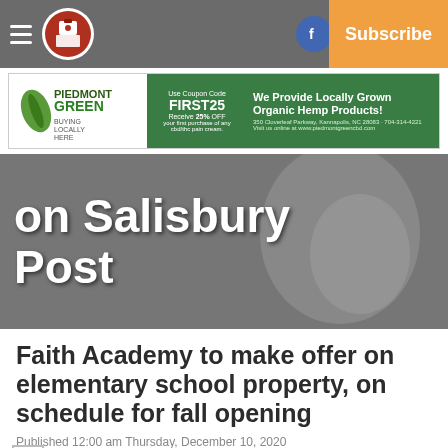Salisbury Post — Navigation bar with hamburger menu, logo, Facebook, Twitter, Log In, Subscribe
[Figure (infographic): Piedmont Green advertisement banner: 'Use Coupon Code FIRST25 Receive 25% OFF your first purchase of any cbd/thc pain cream. We Provide Locally Grown Organic Hemp Products! 350 Clover leaf Parkway, Kannapolis, NC 28083 · 704-314-4221 Visit us online at www.piedmontgreencbd.com']
[Figure (photo): Gray hero banner image with large white bold text reading 'on Salisbury Post' overlaid on a blurred background showing a person]
Faith Academy to make offer on elementary school property, on schedule for fall opening
Published 12:00 am Thursday, December 10, 2020
By Carl Blankenship